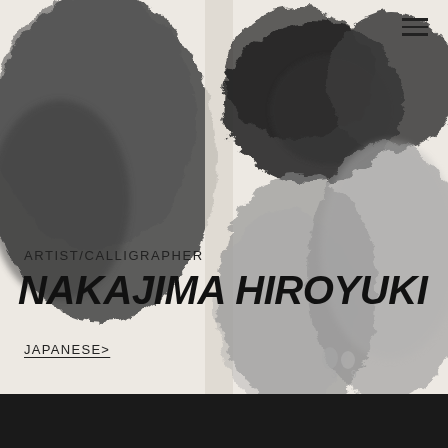[Figure (illustration): Abstract ink wash calligraphy painting with large dark grey and medium grey organic blob shapes on a light cream/off-white background, arranged across the upper portion of the page. Three distinct columns of ink marks visible — left column a large dark wash blob, center column two overlapping washes, right column a lighter grey textured wash and darker top portion. A vertical white/light strip separates columns.]
ARTIST/CALLIGRAPHER
NAKAJIMA HIROYUKI
JAPANESE>